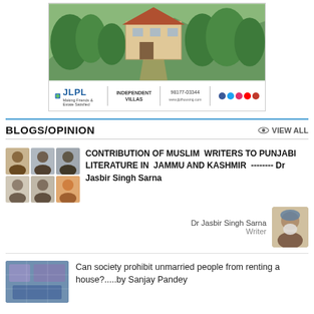[Figure (photo): JLPL advertisement showing a villa/house on a hill surrounded by trees, with JLPL logo, 'INDEPENDENT VILLAS', phone number 98177-03344, website and social icons]
BLOGS/OPINION   VIEW ALL
CONTRIBUTION OF MUSLIM WRITERS TO PUNJABI LITERATURE IN JAMMU AND KASHMIR -------- Dr Jasbir Singh Sarna
Dr Jasbir Singh Sarna
Writer
Can society prohibit unmarried people from renting a house?.....by Sanjay Pandey